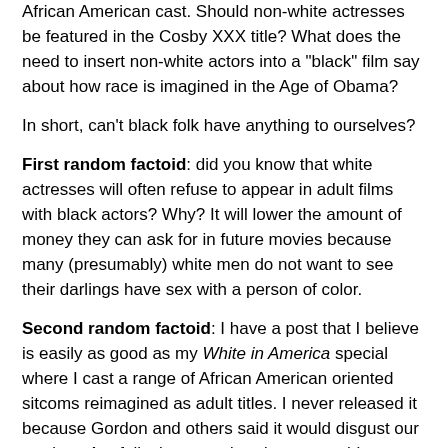African American cast. Should non-white actresses be featured in the Cosby XXX title? What does the need to insert non-white actors into a "black" film say about how race is imagined in the Age of Obama?
In short, can't black folk have anything to ourselves?
First random factoid: did you know that white actresses will often refuse to appear in adult films with black actors? Why? It will lower the amount of money they can ask for in future movies because many (presumably) white men do not want to see their darlings have sex with a person of color.
Second random factoid: I have a post that I believe is easily as good as my White in America special where I cast a range of African American oriented sitcoms reimagined as adult titles. I never released it because Gordon and others said it would disgust our readers. Are folks interested or do respectable negroes in fact loathe such humor?
In total, these questions of race, inclusion, and the marketing of black adult movies to white audiences in the Age of Obama has created quite a dust up among those who follo...